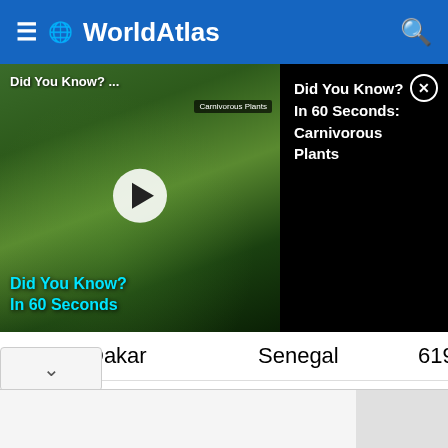WorldAtlas
[Figure (screenshot): Video thumbnail overlay showing 'Did You Know? In 60 Seconds: Carnivorous Plants' with play button on left and black info panel on right with close button]
| # | City | Country | Population |
| --- | --- | --- | --- |
| 9 | Dakar | Senegal | 619,41 |
| 10 | Entebbe | Uganda | 576,43 |
| 11 | Tunis | Tunisia | 427,80 |
| 12 | Maputo | Mozambique | 254,25 |
| 13 | Beira | Mozambique | 20,786 |